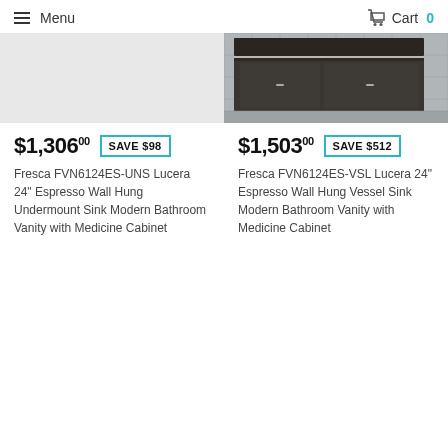Menu   Cart 0
[Figure (photo): Partial view of a modern bathroom vanity with dark cabinet and mirror, grey tile background — right product image only visible]
$1,306.00  SAVE $98
Fresca FVN6124ES-UNS Lucera 24" Espresso Wall Hung Undermount Sink Modern Bathroom Vanity with Medicine Cabinet
$1,503.00  SAVE $512
Fresca FVN6124ES-VSL Lucera 24" Espresso Wall Hung Vessel Sink Modern Bathroom Vanity with Medicine Cabinet